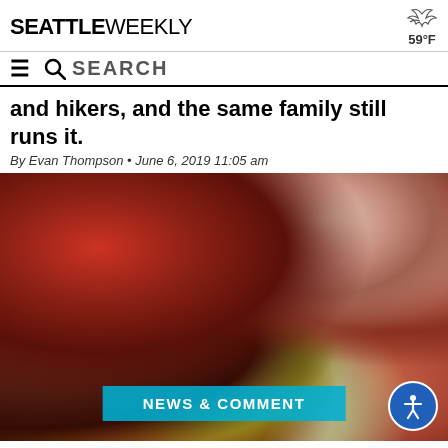SEATTLE WEEKLY — 59°F
SEARCH
and hikers, and the same family still runs it.
By Evan Thompson • June 6, 2019 11:05 am
[Figure (photo): Close-up photo of sliced roasted beef with vegetables including leeks and carrots in a roasting pan]
NEWS & COMMENT